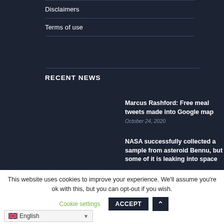Disclaimers
Terms of use
RECENT NEWS
Marcus Rashford: Free meal tweets made into Google map
October 24, 2020
NASA successfully collected a sample from asteroid Bennu, but some of it is leaking into space
This website uses cookies to improve your experience. We'll assume you're ok with this, but you can opt-out if you wish.
Cookie settings
ACCEPT
English